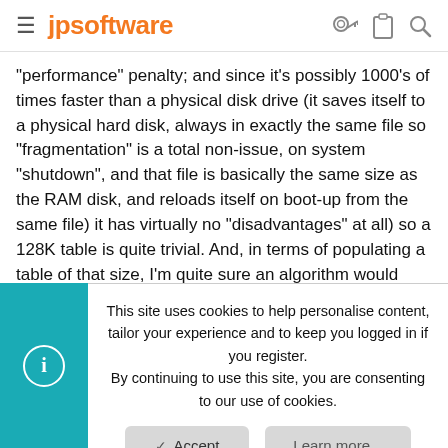jpsoftware
"performance" penalty; and since it's possibly 1000's of times faster than a physical disk drive (it saves itself to a physical hard disk, always in exactly the same file so "fragmentation" is a total non-issue, on system "shutdown", and that file is basically the same size as the RAM disk, and reloads itself on boot-up from the same file) it has virtually no "disadvantages" at all) so a 128K table is quite trivial. And, in terms of populating a table of that size, I'm quite sure an algorithm would easily exist to fill it with "default" values, and another, very simple algorithm (going through one list of characters (2 bytes at a time) that is a list of offsets into the table while concurrently "picking up" a (2-byte) value from the same position in the other list and placing that 2-byte value at the offset into the table provided by the
This site uses cookies to help personalise content, tailor your experience and to keep you logged in if you register.
By continuing to use this site, you are consenting to our use of cookies.